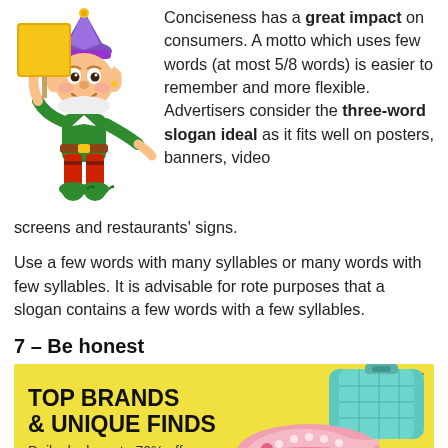[Figure (illustration): Cartoon elf/gnome character in colorful outfit holding a yellow sign, dancing pose]
Conciseness has a great impact on consumers. A motto which uses few words (at most 5/8 words) is easier to remember and more flexible. Advertisers consider the three-word slogan ideal as it fits well on posters, banners, video screens and restaurants' signs.
Use a few words with many syllables or many words with few syllables. It is advisable for rote purposes that a slogan contains a few words with a few syllables.
7 – Be honest
[Figure (screenshot): Zulily advertisement banner with yellow background showing TOP BRANDS & UNIQUE FINDS, Daily deals up to 70% off, with shoe and handbag images]